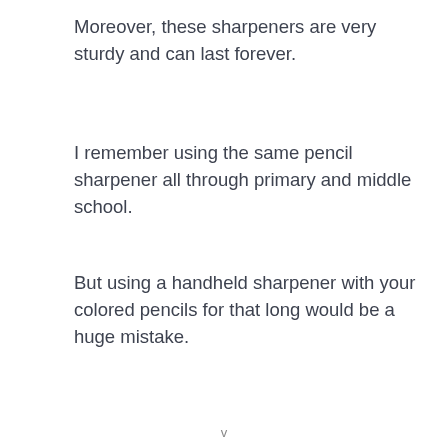Moreover, these sharpeners are very sturdy and can last forever.
I remember using the same pencil sharpener all through primary and middle school.
But using a handheld sharpener with your colored pencils for that long would be a huge mistake.
v